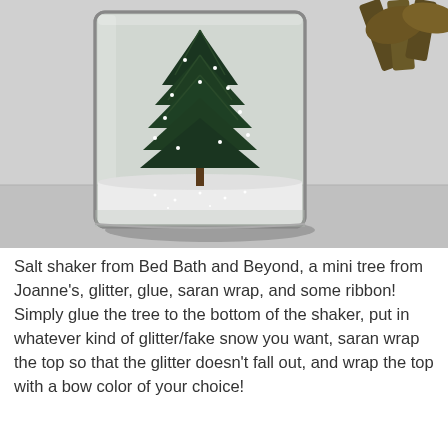[Figure (photo): A clear glass rectangular salt shaker containing a miniature bottle-brush Christmas tree standing upright, with white glitter/fake snow at the bottom. A decorative ribbon is visible at the top right corner. The photo is in muted/desaturated tones.]
Salt shaker from Bed Bath and Beyond, a mini tree from Joanne's, glitter, glue, saran wrap, and some ribbon! Simply glue the tree to the bottom of the shaker, put in whatever kind of glitter/fake snow you want, saran wrap the top so that the glitter doesn't fall out, and wrap the top with a bow color of your choice!